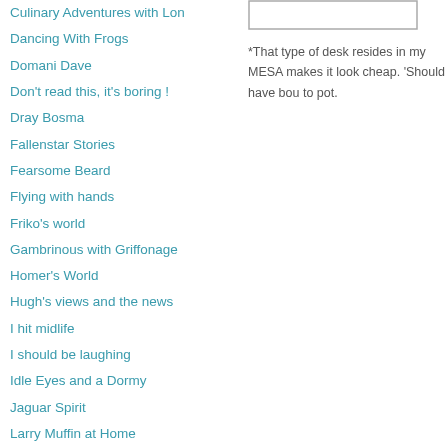Culinary Adventures with Lon
Dancing With Frogs
Domani Dave
Don't read this, it's boring !
Dray Bosma
Fallenstar Stories
Fearsome Beard
Flying with hands
Friko's world
Gambrinous with Griffonage
Homer's World
Hugh's views and the news
I hit midlife
I should be laughing
Idle Eyes and a Dormy
Jaguar Spirit
Larry Muffin at Home
Life Beyond the Casinos
Lucky Traveler 57
Mildred Ratched Memoirs
Mitchell is Moving
My Secret Journey
*That type of desk resides in my MESA makes it look cheap. 'Should have bou to pot.